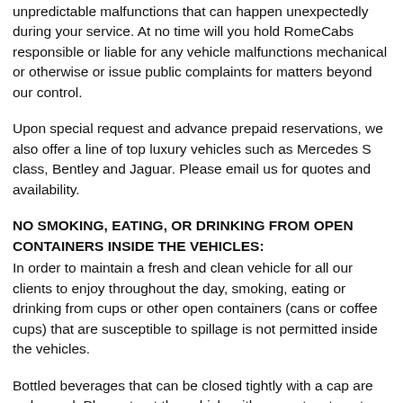unpredictable malfunctions that can happen unexpectedly during your service. At no time will you hold RomeCabs responsible or liable for any vehicle malfunctions mechanical or otherwise or issue public complaints for matters beyond our control.
Upon special request and advance prepaid reservations, we also offer a line of top luxury vehicles such as Mercedes S class, Bentley and Jaguar. Please email us for quotes and availability.
NO SMOKING, EATING, OR DRINKING FROM OPEN CONTAINERS INSIDE THE VEHICLES:
In order to maintain a fresh and clean vehicle for all our clients to enjoy throughout the day, smoking, eating or drinking from cups or other open containers (cans or coffee cups) that are susceptible to spillage is not permitted inside the vehicles.
Bottled beverages that can be closed tightly with a cap are welcomed. Please treat the vehicle with respect as to not